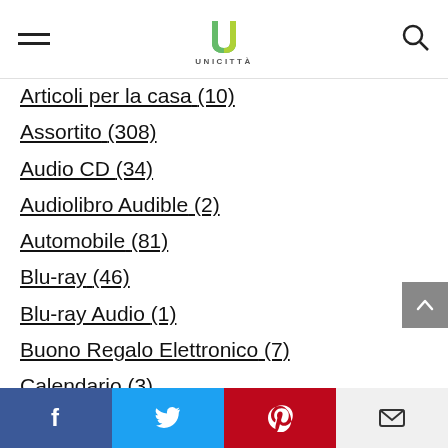UNICITTA
Articoli per la casa (10)
Assortito (308)
Audio CD (34)
Audiolibro Audible (2)
Automobile (81)
Blu-ray (46)
Blu-ray Audio (1)
Buono Regalo Elettronico (7)
Calendario (3)
Cappello (4)
Cartonato (1)
CD-ROM (2)
Console (25)
Copertina flessibile (223)
Copertina rigida (110)
Facebook Twitter Pinterest Email